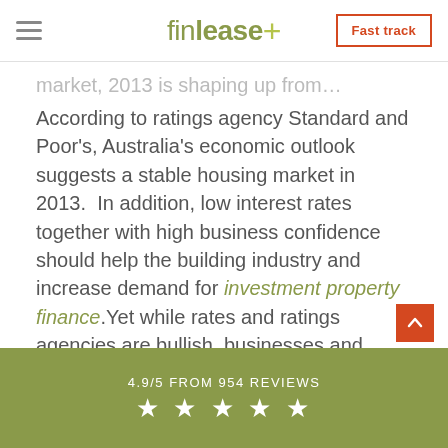finlease+ | Fast track
market, 2013 is shaping up from…
According to ratings agency Standard and Poor's, Australia's economic outlook suggests a stable housing market in 2013.  In addition, low interest rates together with high business confidence should help the building industry and increase demand for investment property finance.Yet while rates and ratings agencies are bullish, businesses and households are conservative when it comes to borrowing money which is affecting
4.9/5 FROM 954 REVIEWS ★★★★★